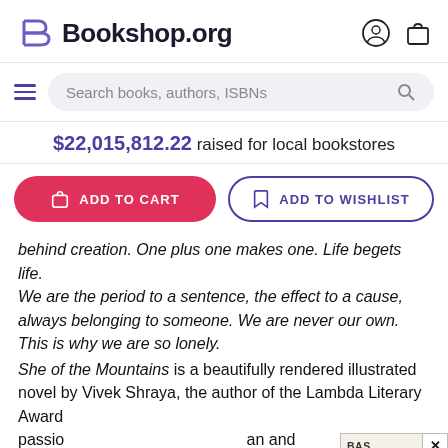Bookshop.org
Search books, authors, ISBNs
$22,015,812.22 raised for local bookstores
ADD TO CART
ADD TO WISHLIST
behind creation. One plus one makes one. Life begets life. We are the period to a sentence, the effect to a cause, always belonging to someone. We are never our own. This is why we are so lonely. She of the Mountains is a beautifully rendered illustrated novel by Vivek Shraya, the author of the Lambda Literary Award passio an and his boo oth narrati and